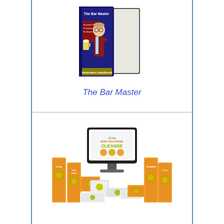[Figure (illustration): Book product image: 'The Bar Master - Bartenders Handbook' showing a cartoon bartender on the cover of a blue binder/book]
The Bar Master
[Figure (illustration): Product bundle image: '10 Day Body Cleanse' showing a computer monitor and multiple DVD/book cases with orange and green design]